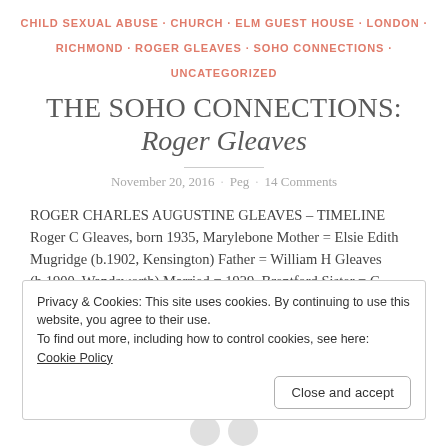CHILD SEXUAL ABUSE · CHURCH · ELM GUEST HOUSE · LONDON · RICHMOND · ROGER GLEAVES · SOHO CONNECTIONS · UNCATEGORIZED
THE SOHO CONNECTIONS: Roger Gleaves
November 20, 2016 · Peg · 14 Comments
ROGER CHARLES AUGUSTINE GLEAVES – TIMELINE Roger C Gleaves, born 1935, Marylebone Mother = Elsie Edith Mugridge (b.1902, Kensington) Father = William H Gleaves (b.1900, Wandsworth) Married = 1929, Brentford Sister = C Gleaves – 1936, Surrey North
Privacy & Cookies: This site uses cookies. By continuing to use this website, you agree to their use. To find out more, including how to control cookies, see here: Cookie Policy
Close and accept